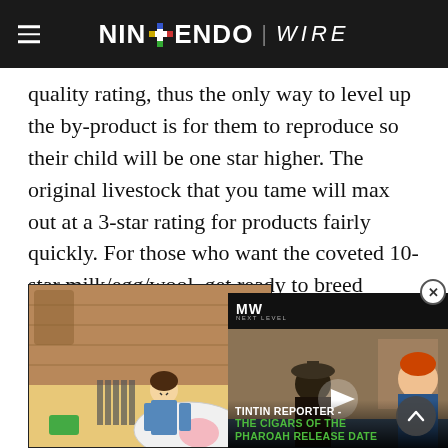Nintendo Wire
quality rating, thus the only way to level up the by-product is for them to reproduce so their child will be one star higher. The original livestock that you tame will max out at a 3-star rating for products fairly quickly. For those who want the coveted 10-star milk/egg/wool, get ready to breed livestock for at least seven cycles and then either hang onto all of them or release them...
[Figure (screenshot): Screenshot of a Nintendo game showing a character with livestock animals in a room setting]
[Figure (screenshot): Video overlay thumbnail showing Tintin Reporter - The Cigars of the Pharoah Release Date with MW logo]